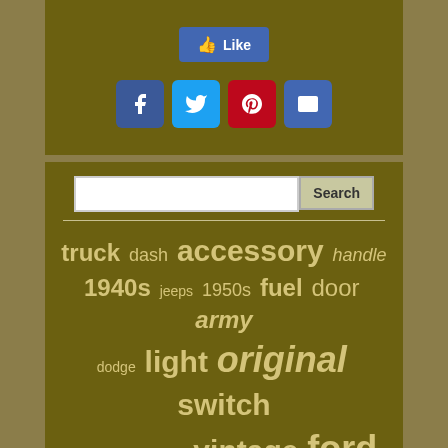[Figure (screenshot): Facebook Like button widget]
[Figure (screenshot): Social media share icons: Facebook, Twitter, Pinterest, Email]
[Figure (screenshot): Search bar with text input and Search button]
truck dash accessory handle 1940s jeeps 1950s fuel door army dodge light original switch chevrolet front grill vintage ford military willys g503 wwii cj2a 41-45 jeep pair